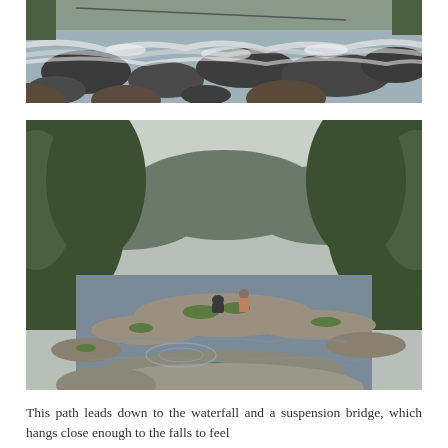[Figure (photo): Close-up photograph of a rocky river or mountain stream with rushing white water flowing over and around large dark rocks and boulders.]
[Figure (photo): Wide scenic photograph of a rocky river bed with shallow water flowing between flat stones. Two children are standing and crouching on rocks in the middle distance. Dense green forest and hills rise on both sides, with an overcast sky above.]
This path leads down to the waterfall and a suspension bridge, which hangs close enough to the falls to feel